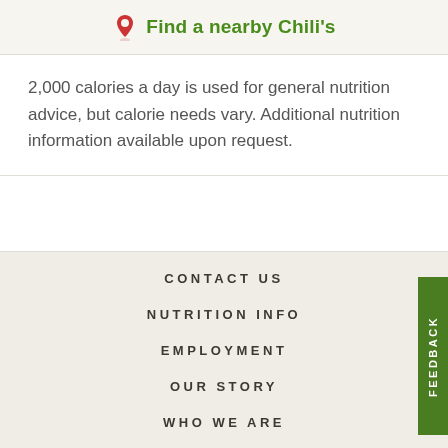Find a nearby Chili's
2,000 calories a day is used for general nutrition advice, but calorie needs vary. Additional nutrition information available upon request.
CONTACT US
NUTRITION INFO
EMPLOYMENT
OUR STORY
WHO WE ARE
FEEDBACK